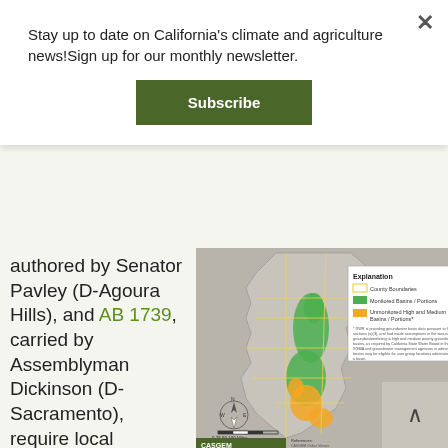Stay up to date on California's climate and agriculture news!Sign up for our monthly newsletter.
Subscribe
authored by Senator Pavley (D-Agoura Hills), and AB 1739, carried by Assemblyman Dickinson (D-Sacramento), require local agencies to develop sustainable
[Figure (map): Map of California showing groundwater basins. Legend includes: County Boundaries (yellow outline), Monitored Basins / Portions (green), Unmonitored High and Medium Priority Basins / Portions (orange). Includes north arrow, scale bar, and CASGEM logo.]